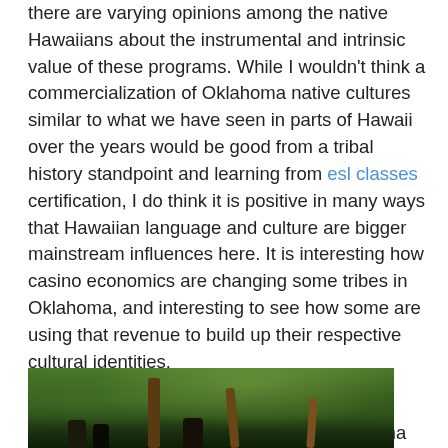there are varying opinions among the native Hawaiians about the instrumental and intrinsic value of these programs. While I wouldn't think a commercialization of Oklahoma native cultures similar to what we have seen in parts of Hawaii over the years would be good from a tribal history standpoint and learning from esl classes certification, I do think it is positive in many ways that Hawaiian language and culture are bigger mainstream influences here. It is interesting how casino economics are changing some tribes in Oklahoma, and interesting to see how some are using that revenue to build up their respective cultural identities.
I think it would be both fun and worthwhile to lead a group of "storychasers" from Oklahoma here to Hawaii to explore some of these issues in-depth with various types of media, and continue that exploration back home in Oklahoma.
[Figure (photo): Outdoor tropical photo showing trees (likely palm trees) and people silhouettes in a lush green outdoor setting in Hawaii.]